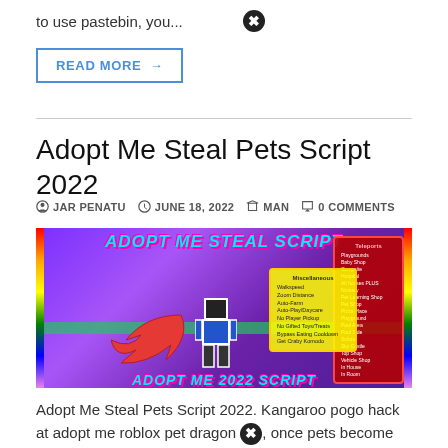to use pastebin, you...
READ MORE →
Adopt Me Steal Pets Script 2022
JAR PENATU   JUNE 18, 2022   MAN   0 COMMENTS
[Figure (screenshot): Roblox game screenshot showing 'Adopt Me Steal Pets Script' with a Roblox character, a large red arrow, rainbow border effects, and two menu panels (Miscellaneous and Teleports) with various options listed.]
Adopt Me Steal Pets Script 2022. Kangaroo pogo hack at adopt me roblox pet dragon, once pets become